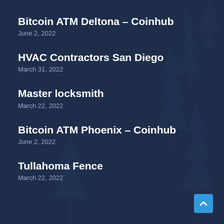[Figure (illustration): Dark navy blue background with faint silhouettes of pine/fir trees creating a winter forest atmosphere]
Bitcoin ATM Deltona – Coinhub
June 2, 2022
HVAC Contractors San Diego
March 31, 2022
Master locksmith
March 22, 2022
Bitcoin ATM Phoenix – Coinhub
June 2, 2022
Tullahoma Fence
March 22, 2022